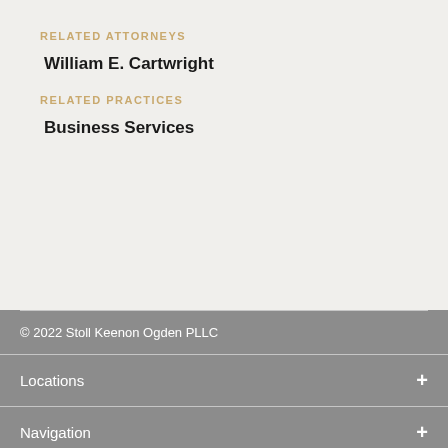RELATED ATTORNEYS
William E. Cartwright
RELATED PRACTICES
Business Services
© 2022 Stoll Keenon Ogden PLLC
Locations +
Navigation +
Social Media +
Memberships